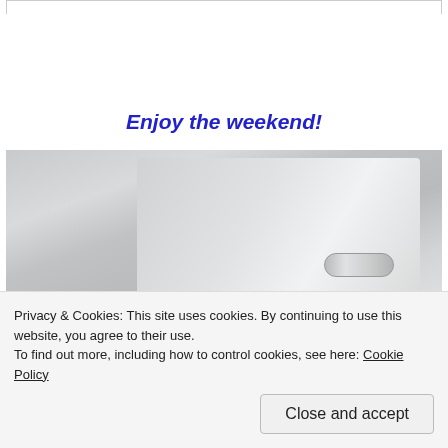Enjoy the weekend!
[Figure (photo): Interior of airplane showing overhead panel, reading light, and top of passenger's head with dark hair.]
Privacy & Cookies: This site uses cookies. By continuing to use this website, you agree to their use.
To find out more, including how to control cookies, see here: Cookie Policy
Close and accept